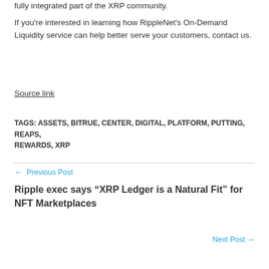fully integrated part of the XRP community.
If you're interested in learning how RippleNet's On-Demand Liquidity service can help better serve your customers, contact us.
Source link
TAGS: ASSETS, BITRUE, CENTER, DIGITAL, PLATFORM, PUTTING, REAPS, REWARDS, XRP
← Previous Post
Ripple exec says “XRP Ledger is a Natural Fit” for NFT Marketplaces
Next Post →